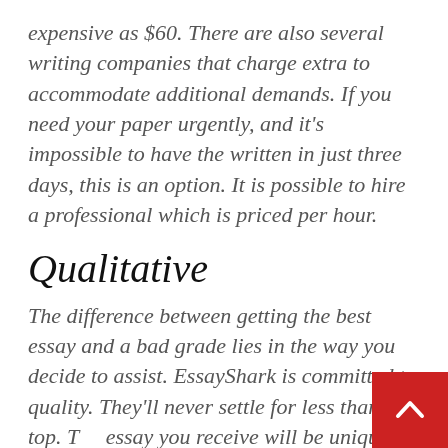expensive as $60. There are also several writing companies that charge extra to accommodate additional demands. If you need your paper urgently, and it's impossible to have the written in just three days, this is an option. It is possible to hire a professional which is priced per hour.
Qualitative
The difference between getting the best essay and a bad grade lies in the way you decide to assist. EssayShark is committed to quality. They'll never settle for less than the top. The essay you receive will be unique piece of